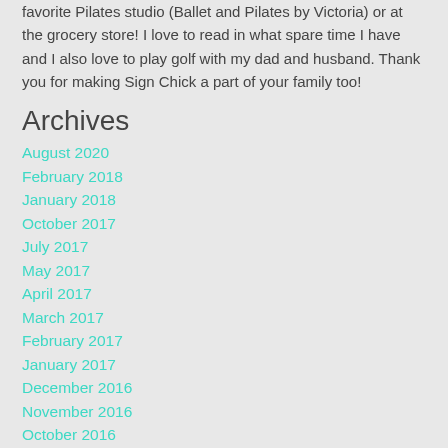favorite Pilates studio (Ballet and Pilates by Victoria) or at the grocery store!  I love to read in what spare time I have and I also love to play golf with my dad and husband.  Thank you for making Sign Chick a part of your family too!
Archives
August 2020
February 2018
January 2018
October 2017
July 2017
May 2017
April 2017
March 2017
February 2017
January 2017
December 2016
November 2016
October 2016
September 2016